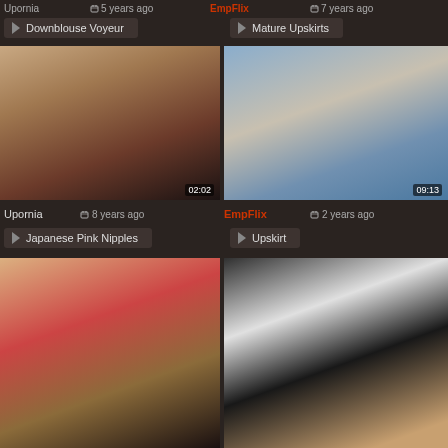Upornia  8 years ago  EmpFlix  7 years ago
Downblouse Voyeur
Mature Upskirts
[Figure (photo): Video thumbnail showing voyeur/downblouse content with duration 02:02]
[Figure (photo): Video thumbnail showing upskirt content with duration 09:13]
Upornia  8 years ago  EmpFlix  2 years ago
Japanese Pink Nipples
Upskirt
[Figure (photo): Video thumbnail showing two women on couch]
[Figure (photo): Video thumbnail showing upskirt/voyeur content]